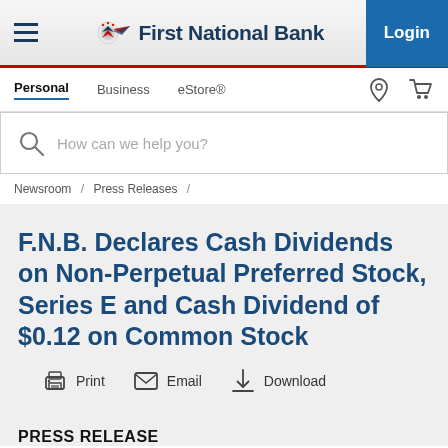First National Bank — Login
Personal / Business / eStore®
How can we help you?
Newsroom / Press Releases /
F.N.B. Declares Cash Dividends on Non-Perpetual Preferred Stock, Series E and Cash Dividend of $0.12 on Common Stock
Print   Email   Download
PRESS RELEASE